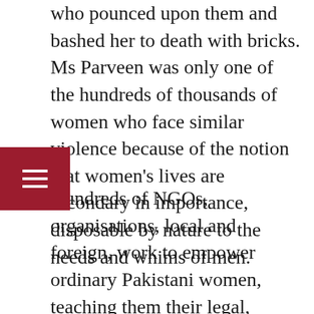who pounced upon them and bashed her to death with bricks. Ms Parveen was only one of the hundreds of thousands of women who face similar violence because of the notion that women's lives are secondary in importance, disposable by nature to the needs and whims of men.
Hundreds of NGOs, organisations, local and foreign, work to empower ordinary Pakistani women, teaching them their legal, human, and Islamic rights; connecting them to legal aid and financial resources so that they can become empowered and independent. But not one programme or resource could save Farzana because they didn't focus on teaching her male